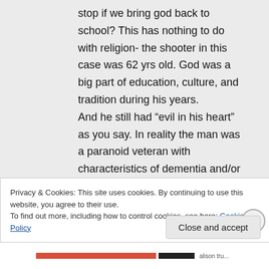stop if we bring god back to school? This has nothing to do with religion- the shooter in this case was 62 yrs old. God was a big part of education, culture, and tradition during his years. And he still had “evil in his heart” as you say. In reality the man was a paranoid veteran with characteristics of dementia and/or
Privacy & Cookies: This site uses cookies. By continuing to use this website, you agree to their use.
To find out more, including how to control cookies, see here: Cookie Policy
Close and accept